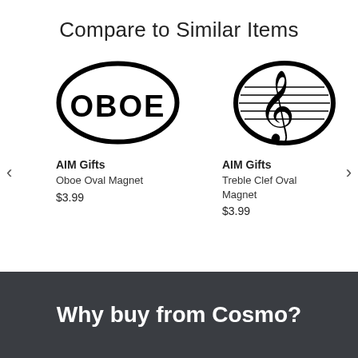Compare to Similar Items
[Figure (illustration): Oval magnet with bold text OBOE inside, black border on white background]
AIM Gifts
Oboe Oval Magnet
$3.99
[Figure (illustration): Oval magnet with treble clef and horizontal staff lines, black border on white background]
AIM Gifts
Treble Clef Oval Magnet
$3.99
Why buy from Cosmo?